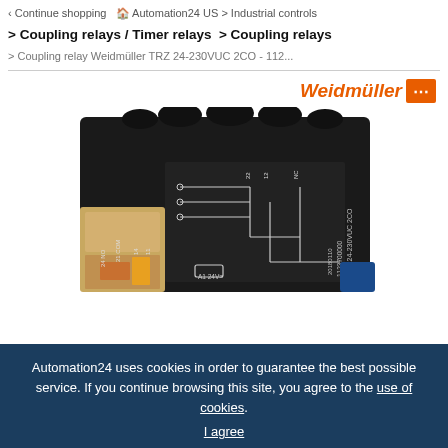< Continue shopping  Automation24 US > Industrial controls > Coupling relays / Timer relays > Coupling relays > Coupling relay Weidmüller TRZ 24-230VUC 2CO - 112...
[Figure (photo): Photo of Weidmüller TRZ 24-230VUC 2CO coupling relay module showing wiring diagram printed on the black housing. The relay has terminal markings including 24 NO, 21 COM, 14, 11, 22, 12, NC, A1 24V. Part number 1123700000 and date code 20180110 visible. Weidmüller logo in orange italic text with stylized E symbol in top right.]
Automation24 uses cookies in order to guarantee the best possible service. If you continue browsing this site, you agree to the use of cookies.
I agree